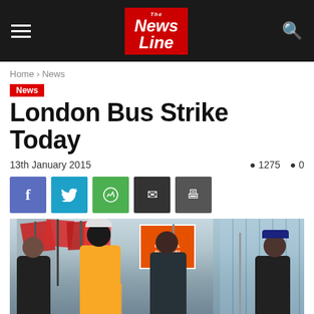News Line
Home › News
News
London Bus Strike Today
13th January 2015  👁 1275  💬 0
[Figure (photo): Striking bus workers marching with red Unite union flags and orange placards outside a glass building in London.]